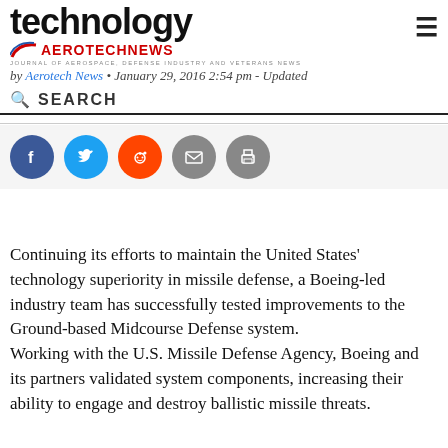technology — AEROTECHNEWS — JOURNAL OF AEROSPACE, DEFENSE INDUSTRY AND VETERANS NEWS
by Aerotech News • January 29, 2016 2:54 pm - Updated
SEARCH
[Figure (infographic): Social sharing buttons: Facebook (blue), Twitter (light blue), Reddit (orange), Email (grey), Print (grey)]
Continuing its efforts to maintain the United States' technology superiority in missile defense, a Boeing-led industry team has successfully tested improvements to the Ground-based Midcourse Defense system. Working with the U.S. Missile Defense Agency, Boeing and its partners validated system components, increasing their ability to engage and destroy ballistic missile threats.